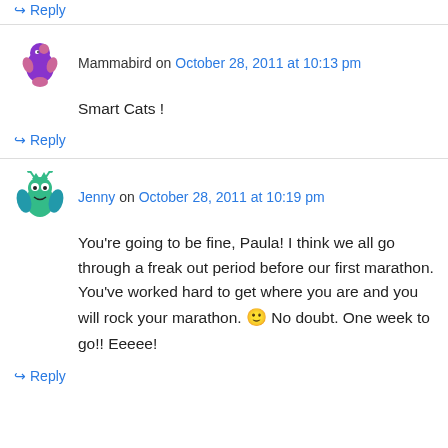↳ Reply
Mammabird on October 28, 2011 at 10:13 pm
Smart Cats !
↳ Reply
Jenny on October 28, 2011 at 10:19 pm
You're going to be fine, Paula! I think we all go through a freak out period before our first marathon. You've worked hard to get where you are and you will rock your marathon. 🙂 No doubt. One week to go!! Eeeee!
↳ Reply